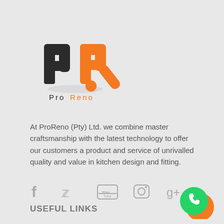[Figure (logo): ProReno logo — stylized P and R letterforms in dark charcoal and orange, with text 'ProReno' below where 'Pro' is dark and 'Reno' is orange]
At ProReno (Pty) Ltd. we combine master craftsmanship with the latest technology to offer our customers a product and service of unrivalled quality and value in kitchen design and fitting.
[Figure (infographic): Social media icons row: Facebook, Twitter, YouTube, Instagram, Google+]
USEFUL LINKS
[Figure (illustration): WhatsApp button circle icon green with phone/chat symbol, orange partial circle behind]